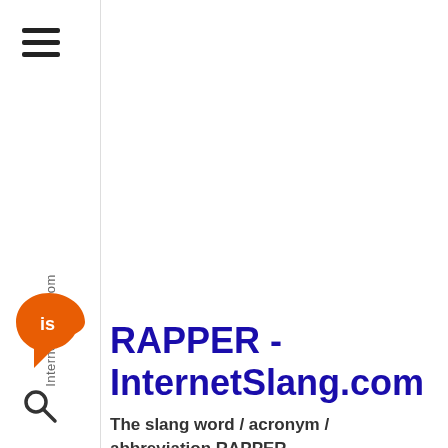[Figure (logo): Orange cloud-shaped logo with white 'is' text inside, representing InternetSlang.com brand]
InternetSlang.com
RAPPER - InternetSlang.com
The slang word / acronym / abbreviation RAPPER